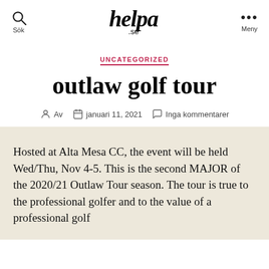helpa .se
UNCATEGORIZED
outlaw golf tour
Av  januari 11, 2021  Inga kommentarer
Hosted at Alta Mesa CC, the event will be held Wed/Thu, Nov 4-5. This is the second MAJOR of the 2020/21 Outlaw Tour season. The tour is true to the professional golfer and to the value of a professional golf